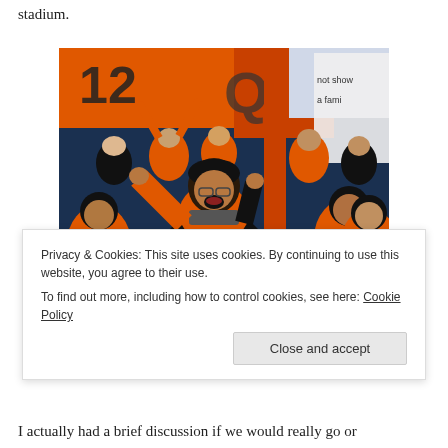stadium.
[Figure (photo): Crowd of sports fans wearing orange and black jerseys cheering enthusiastically in a stadium, with banners visible in the background.]
Privacy & Cookies: This site uses cookies. By continuing to use this website, you agree to their use.
To find out more, including how to control cookies, see here: Cookie Policy
Close and accept
I actually had a brief discussion if we would really go or